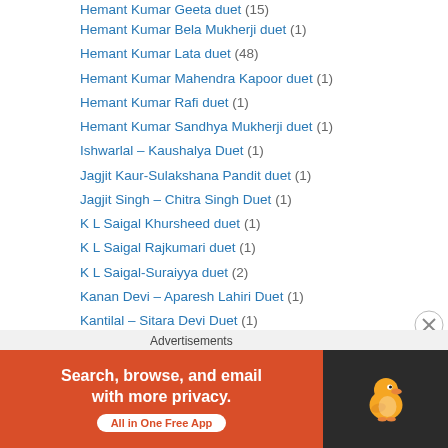Hemant Kumar Geeta duet (15)
Hemant Kumar Bela Mukherji duet (1)
Hemant Kumar Lata duet (48)
Hemant Kumar Mahendra Kapoor duet (1)
Hemant Kumar Rafi duet (1)
Hemant Kumar Sandhya Mukherji duet (1)
Ishwarlal – Kaushalya Duet (1)
Jagjit Kaur-Sulakshana Pandit duet (1)
Jagjit Singh – Chitra Singh Duet (1)
K L Saigal Khursheed duet (1)
K L Saigal Rajkumari duet (1)
K L Saigal-Suraiyya duet (2)
Kanan Devi – Aparesh Lahiri Duet (1)
Kantilal – Sitara Devi Duet (1)
Khan Mastana Amirbai Karnataki duet (1)
Khan Mastana Asha Bhonsle duet (1)
Khan Mastana Hamida Bano duet (3)
Advertisements
[Figure (other): DuckDuckGo advertisement banner: Search, browse, and email with more privacy. All in One Free App. Shows DuckDuckGo duck logo on dark background.]